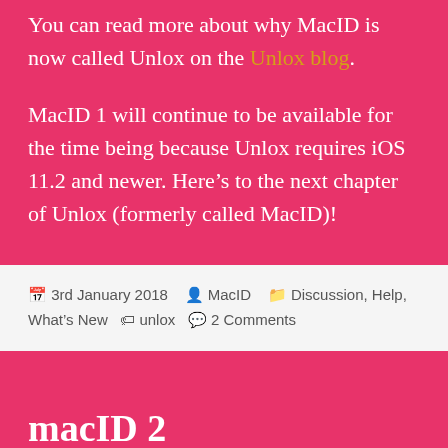You can read more about why MacID is now called Unlox on the Unlox blog.
MacID 1 will continue to be available for the time being because Unlox requires iOS 11.2 and newer. Here’s to the next chapter of Unlox (formerly called MacID)!
3rd January 2018  MacID  Discussion, Help, What’s New  unlox  2 Comments
macID 2
[EDIT 2] Apple are asking me to change the name. MacID 2 will not longer be called MacID, and will be called Unlox. You can read more about it on the Unlox blog